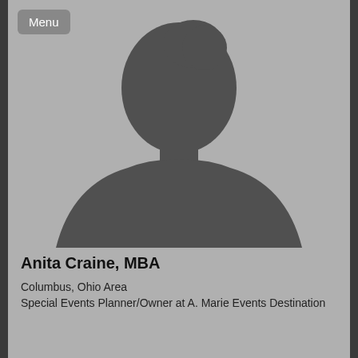[Figure (photo): Default silhouette profile picture placeholder — grey background with dark grey human bust silhouette (generic male/female figure, head and shoulders)]
Anita Craine, MBA
Columbus, Ohio Area
Special Events Planner/Owner at A. Marie Events Destination